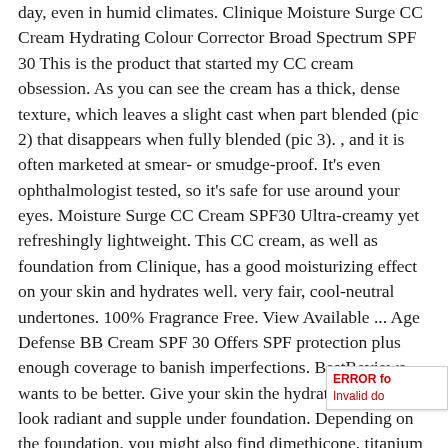day, even in humid climates. Clinique Moisture Surge CC Cream Hydrating Colour Corrector Broad Spectrum SPF 30 This is the product that started my CC cream obsession. As you can see the cream has a thick, dense texture, which leaves a slight cast when part blended (pic 2) that disappears when fully blended (pic 3). , and it is often marketed at smear- or smudge-proof. It's even ophthalmologist tested, so it's safe for use around your eyes. Moisture Surge CC Cream SPF30 Ultra-creamy yet refreshingly lightweight. This CC cream, as well as foundation from Clinique, has a good moisturizing effect on your skin and hydrates well. very fair, cool-neutral undertones. 100% Fragrance Free. View Available ... Age Defense BB Cream SPF 30 Offers SPF protection plus enough coverage to banish imperfections. BestReviews wants to be better. Give your skin the hydration it needs to look radiant and supple under foundation. Depending on the foundation, you might also find dimethicone, titanium dioxide, or waxes. Find skin care and makeup just for you with Clinique Clinical Reali our Foundation Finder. It can be difficult to nail down yo shade based on the online color palette. Best CC creams with SPF
ERROR fo Invalid do